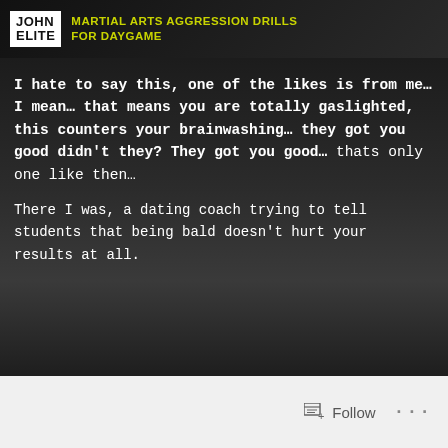[Figure (other): John Elite brand banner with logo and text 'MARTIAL ARTS AGGRESSION DRILLS FOR DAYGAME' on dark background]
I hate to say this, one of the likes is from me… I mean… that means you are totally gaslighted, this counters your brainwashing… they got you good didn't they? They got you good… thats only one like then…
There I was, a dating coach trying to tell students that being bald doesn't hurt your results at all.
Follow ...